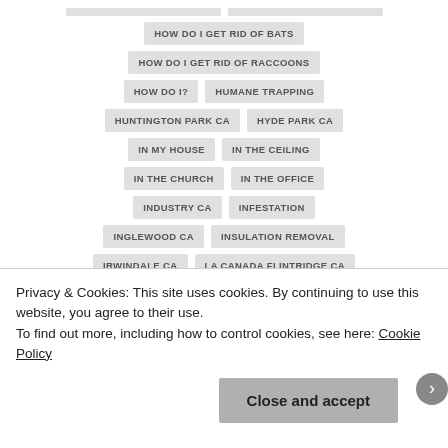HOW DO I GET RID OF BATS
HOW DO I GET RID OF RACCOONS
HOW DO I?
HUMANE TRAPPING
HUNTINGTON PARK CA
HYDE PARK CA
IN MY HOUSE
IN THE CEILING
IN THE CHURCH
IN THE OFFICE
INDUSTRY CA
INFESTATION
INGLEWOOD CA
INSULATION REMOVAL
IRWINDALE CA
LA CANADA FLINTRIDGE CA
LA CRESCENTA CA
LA HABRA HEIGHTS CA
Privacy & Cookies: This site uses cookies. By continuing to use this website, you agree to their use.
To find out more, including how to control cookies, see here: Cookie Policy
Close and accept